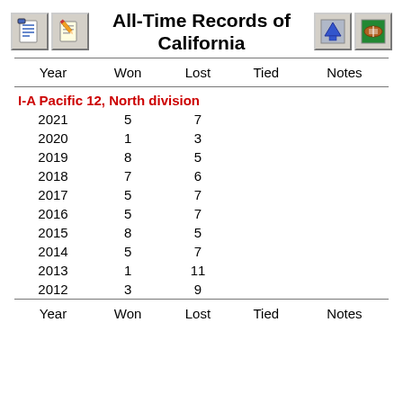All-Time Records of California
| Year | Won | Lost | Tied | Notes |
| --- | --- | --- | --- | --- |
| I-A Pacific 12, North division |  |  |  |  |
| 2021 | 5 | 7 |  |  |
| 2020 | 1 | 3 |  |  |
| 2019 | 8 | 5 |  |  |
| 2018 | 7 | 6 |  |  |
| 2017 | 5 | 7 |  |  |
| 2016 | 5 | 7 |  |  |
| 2015 | 8 | 5 |  |  |
| 2014 | 5 | 7 |  |  |
| 2013 | 1 | 11 |  |  |
| 2012 | 3 | 9 |  |  |
| Year | Won | Lost | Tied | Notes |